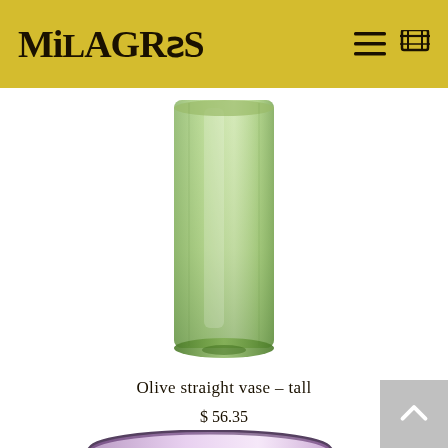MiLAGROS
[Figure (photo): A tall cylindrical olive/sage green glass vase on a white background, photographed from the front.]
Olive straight vase – tall
$ 56.35
[Figure (photo): Partial view of a wide-mouthed lavender/purple glass vase with a dark rim, partially visible at the bottom of the page.]